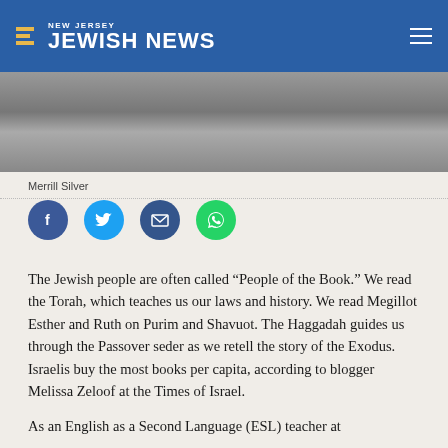NEW JERSEY JEWISH NEWS
[Figure (photo): Black and white photo of Merrill Silver]
Merrill Silver
[Figure (infographic): Social media share buttons: Facebook, Twitter, Email, WhatsApp]
The Jewish people are often called “People of the Book.” We read the Torah, which teaches us our laws and history. We read Megillot Esther and Ruth on Purim and Shavuot. The Haggadah guides us through the Passover seder as we retell the story of the Exodus. Israelis buy the most books per capita, according to blogger Melissa Zeloof at the Times of Israel.
As an English as a Second Language (ESL) teacher at